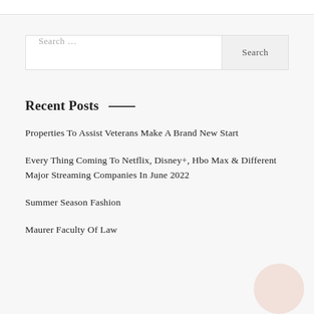Search ...
Recent Posts
Properties To Assist Veterans Make A Brand New Start
Every Thing Coming To Netflix, Disney+, Hbo Max & Different Major Streaming Companies In June 2022
Summer Season Fashion
Maurer Faculty Of Law